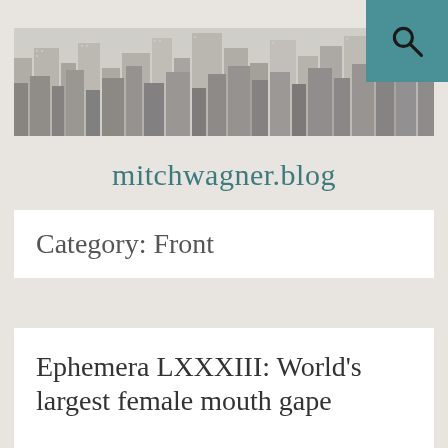[Figure (photo): Black and white aerial photograph of a dense urban cityscape with skyscrapers, likely New York City]
mitchwagner.blog
Category: Front
Ephemera LXXXIII: World's largest female mouth gape